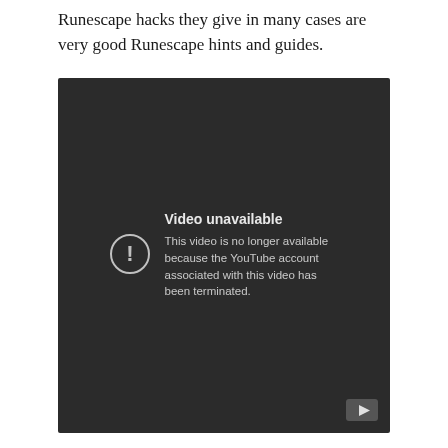Runescape hacks they give in many cases are very good Runescape hints and guides.
[Figure (screenshot): Embedded YouTube video player showing 'Video unavailable' error message. Text reads: 'This video is no longer available because the YouTube account associated with this video has been terminated.' A YouTube play button icon is visible in the bottom-right corner.]